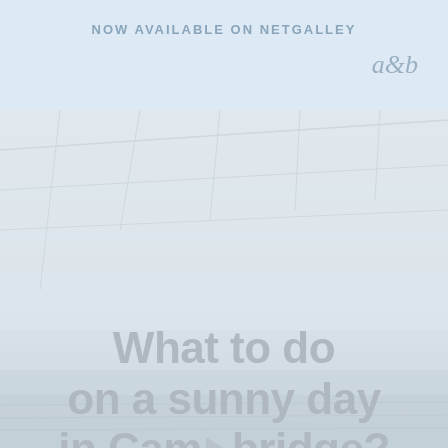NOW AVAILABLE ON NETGALLEY
[Figure (logo): a&b publisher logo in cursive script]
[Figure (photo): Background photo of Cambridge architecture and river, with overlay text 'What to do on a sunny day in Cambridge?' and a video play button icon]